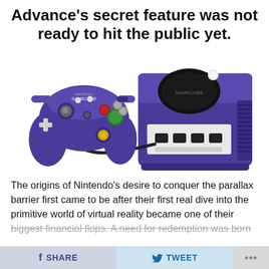Advance's secret feature was not ready to hit the public yet.
[Figure (photo): Photo of a purple Nintendo GameCube console with a purple GameCube controller connected via cable, shown on a white background.]
The origins of Nintendo’s desire to conquer the parallax barrier first came to be after their first real dive into the primitive world of virtual reality became one of their biggest financial flops. A need for redemption was born
f SHARE   🐦 TWEET   ...